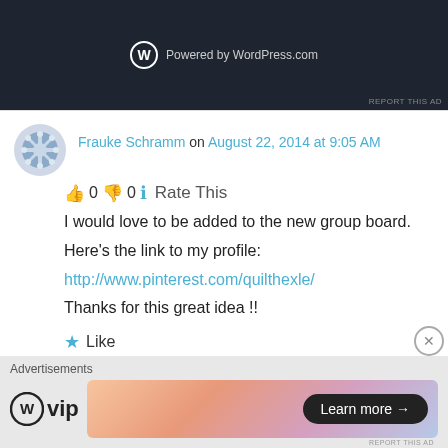[Figure (screenshot): Dark banner showing WordPress.com powered logo with white circle W icon and 'Powered by WordPress.com' text. 'REPORT THIS AD' text in bottom right.]
Frauke Schramm on August 22, 2014 at 9:05 AM
👍 0 👎 0 ℹ Rate This
I would love to be added to the new group board. Here's the link to my profile: http://www.pinterest.com/quilthexle/ Thanks for this great idea !!
★ Like
Log in to Reply
Advertisements
[Figure (screenshot): WordPress VIP logo on left, gradient orange-pink-purple advertisement box on right with 'Learn more →' button.]